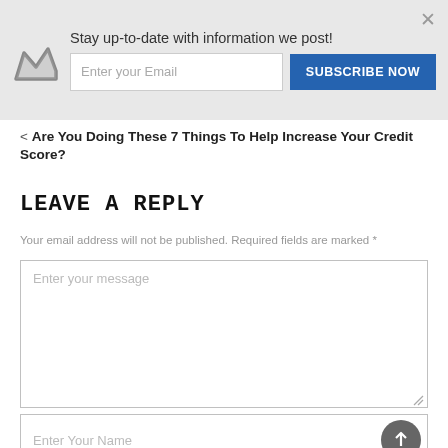Stay up-to-date with information we post!
Are You Doing These 7 Things To Help Increase Your Credit Score?
LEAVE A REPLY
Your email address will not be published. Required fields are marked *
Enter your message
Enter Your Name